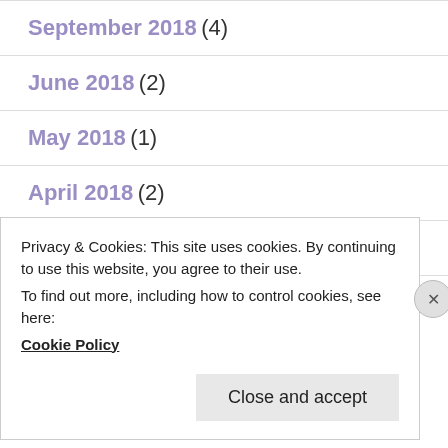September 2018 (4)
June 2018 (2)
May 2018 (1)
April 2018 (2)
March 2018 (1)
February 2018 (3)
Privacy & Cookies: This site uses cookies. By continuing to use this website, you agree to their use. To find out more, including how to control cookies, see here: Cookie Policy  Close and accept